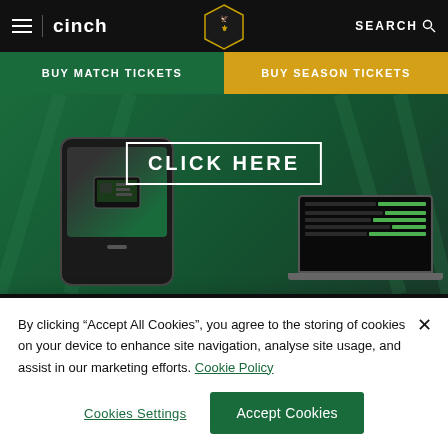cinch | Northampton Saints Rugby Club
BUY MATCH TICKETS
BUY SEASON TICKETS
[Figure (screenshot): Promotional banner with phone and laptop showing a 'CLICK HERE' call to action on a green background]
LATEST NEWS
[Figure (photo): Rugby players in green kit, academy news thumbnail]
ACADEMY
Pollock captains England Under 18s in...
By clicking “Accept All Cookies”, you agree to the storing of cookies on your device to enhance site navigation, analyse site usage, and assist in our marketing efforts. Cookie Policy
Cookies Settings
Accept Cookies